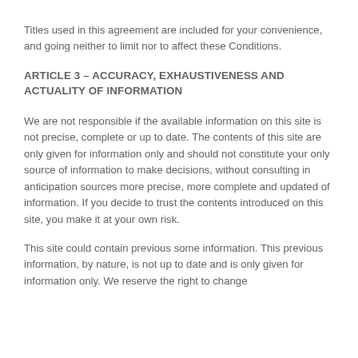Titles used in this agreement are included for your convenience, and going neither to limit nor to affect these Conditions.
ARTICLE 3 – ACCURACY, EXHAUSTIVENESS AND ACTUALITY OF INFORMATION
We are not responsible if the available information on this site is not precise, complete or up to date. The contents of this site are only given for information only and should not constitute your only source of information to make decisions, without consulting in anticipation sources more precise, more complete and updated of information. If you decide to trust the contents introduced on this site, you make it at your own risk.
This site could contain previous some information. This previous information, by nature, is not up to date and is only given for information only. We reserve the right to change